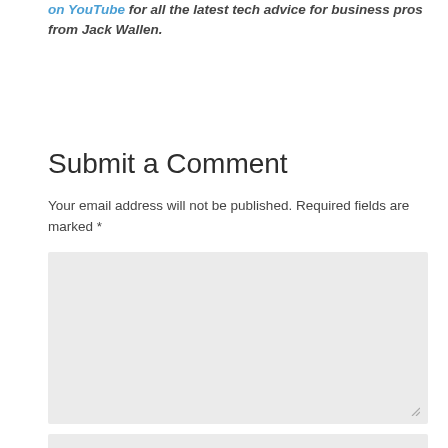on YouTube for all the latest tech advice for business pros from Jack Wallen.
Submit a Comment
Your email address will not be published. Required fields are marked *
Comment *
Name *